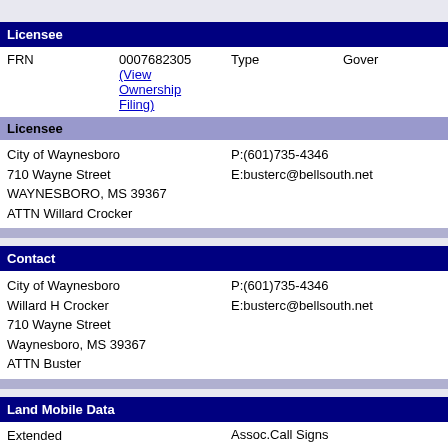Licensee
| FRN | 0007682305 (View Ownership Filing) | Type | Gover |
| --- | --- | --- | --- |
| Licensee |  |
| --- | --- |
| City of Waynesboro
710 Wayne Street
WAYNESBORO, MS 39367
ATTN Willard Crocker | P:(601)735-4346
E:busterc@bellsouth.net |
Contact
|  |  |
| --- | --- |
| City of Waynesboro
Willard H Crocker
710 Wayne Street
Waynesboro, MS 39367
ATTN Buster | P:(601)735-4346
E:busterc@bellsouth.net |
Land Mobile Data
| Extended Implementation (Slow Growth) |  | Assoc.Call Signs |  |
| --- | --- | --- | --- |
| Eligibility |
| --- |
| 90.17A |